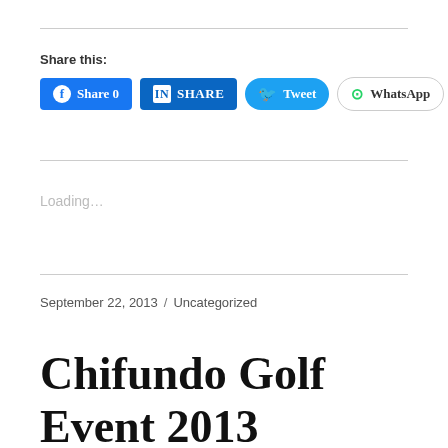Share this:
[Figure (screenshot): Social sharing buttons: Facebook Share 0, LinkedIn SHARE, Twitter Tweet, WhatsApp]
Loading...
September 22, 2013  /  Uncategorized
Chifundo Golf Event 2013